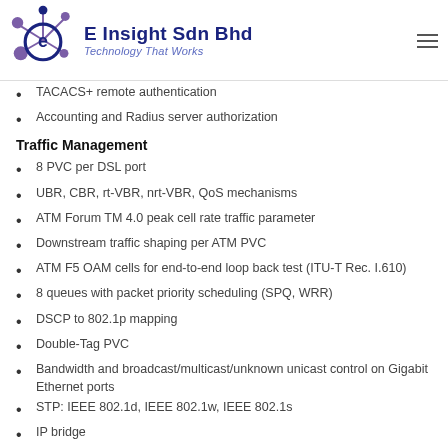E Insight Sdn Bhd – Technology That Works
TACACS+ remote authentication
Accounting and Radius server authorization
Traffic Management
8 PVC per DSL port
UBR, CBR, rt-VBR, nrt-VBR, QoS mechanisms
ATM Forum TM 4.0 peak cell rate traffic parameter
Downstream traffic shaping per ATM PVC
ATM F5 OAM cells for end-to-end loop back test (ITU-T Rec. I.610)
8 queues with packet priority scheduling (SPQ, WRR)
DSCP to 802.1p mapping
Double-Tag PVC
Bandwidth and broadcast/multicast/unknown unicast control on Gigabit Ethernet ports
STP: IEEE 802.1d, IEEE 802.1w, IEEE 802.1s
IP bridge